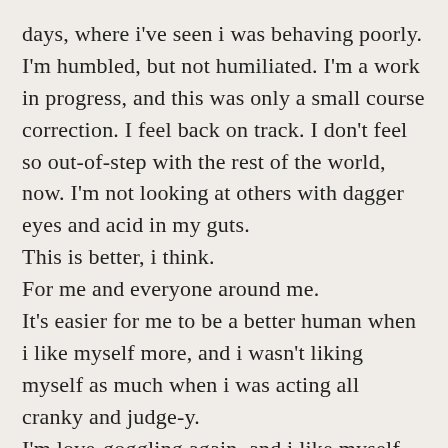days, where i've seen i was behaving poorly. I'm humbled, but not humiliated. I'm a work in progress, and this was only a small course correction. I feel back on track. I don't feel so out-of-step with the rest of the world, now. I'm not looking at others with dagger eyes and acid in my guts.
This is better, i think.
For me and everyone around me.
It's easier for me to be a better human when i like myself more, and i wasn't liking myself as much when i was acting all cranky and judge-y.
I'm love-goggling again, and i like myself much better this way.